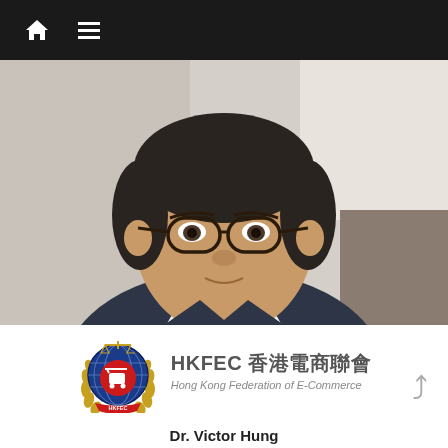navigation bar with home icon and menu icon
[Figure (photo): Headshot portrait photo of Dr. Victor Hung, an Asian man with round glasses, dark hair, wearing a dark blazer over a white shirt, photographed indoors.]
[Figure (logo): HKFEC logo — circular emblem with globe, red shopping cart with 'e', laurel wreath branches, scales of justice on top, and 'HKFEC' text ribbon at base. Next to it: 'HKFEC 香港電商聯會' in bold and 'Hong Kong Federation of E-Commerce' in italic below.]
Dr. Victor Hung